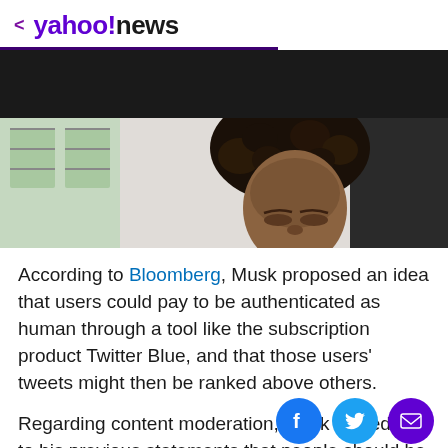< yahoo!news
[Figure (photo): Photo of a person with curly hair looking down, partially visible, top portion of image, light background with windows]
According to Bloomberg, Musk proposed an idea that users could pay to be authenticated as human through a tool like the subscription product Twitter Blue, and that those users' tweets might then be ranked above others.
Regarding content moderation, Musk stayed true to his previous statements that people should be able to say "pretty outrageous things" as long as those statements